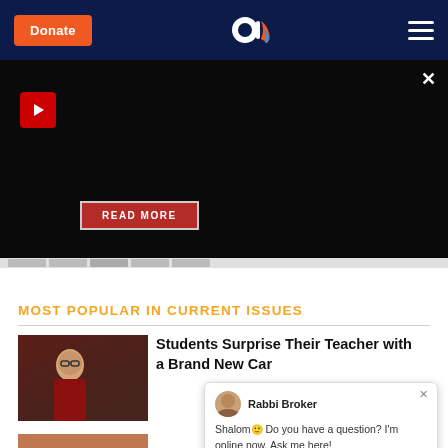Donate | [Aish logo] | [Menu]
[Figure (screenshot): Dark video player area with play button and READ MORE button overlay]
MOST POPULAR IN CURRENT ISSUES
[Figure (photo): Man in red jacket holding papers being interviewed outdoors]
Students Surprise Their Teacher with a Brand New Car
[Figure (screenshot): Chat widget with Rabbi Broker avatar. Text: Shalom! Do you have a question? I'm online now. Ask me here!]